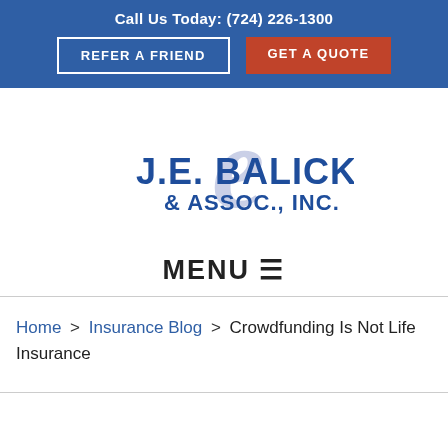Call Us Today: (724) 226-1300
REFER A FRIEND
GET A QUOTE
[Figure (logo): J.E. Balicki & Assoc., Inc. logo with decorative script initial overlaid on company name in blue]
MENU ☰
Home > Insurance Blog > Crowdfunding Is Not Life Insurance